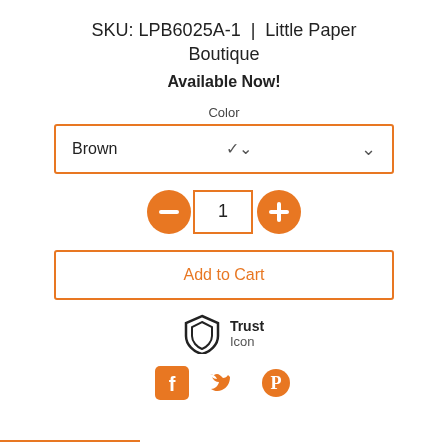SKU: LPB6025A-1 | Little Paper Boutique
Available Now!
Color
Brown
[Figure (infographic): Quantity selector with minus button, quantity box showing 1, and plus button]
Add to Cart
[Figure (infographic): Shield trust icon with text 'Trust Icon']
[Figure (infographic): Social share icons: Facebook, Twitter, Pinterest]